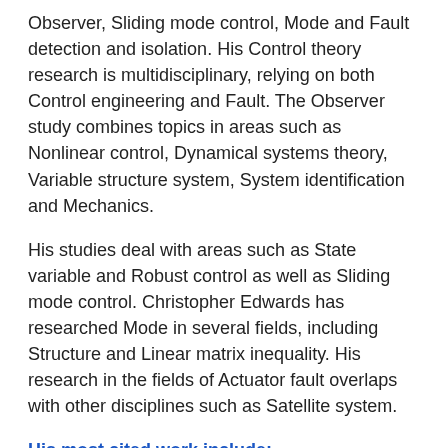Observer, Sliding mode control, Mode and Fault detection and isolation. His Control theory research is multidisciplinary, relying on both Control engineering and Fault. The Observer study combines topics in areas such as Nonlinear control, Dynamical systems theory, Variable structure system, System identification and Mechanics.
His studies deal with areas such as State variable and Robust control as well as Sliding mode control. Christopher Edwards has researched Mode in several fields, including Structure and Linear matrix inequality. His research in the fields of Actuator fault overlaps with other disciplines such as Satellite system.
His most cited work include:
Sliding mode control : theory and applications (2734 citations)